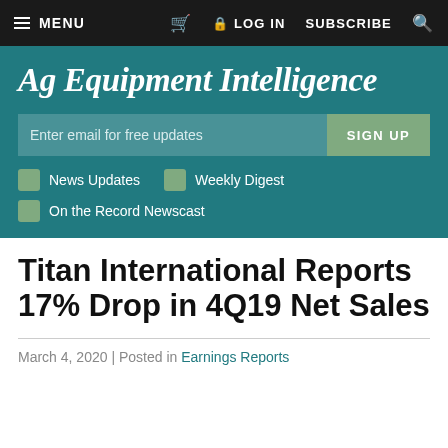MENU | LOG IN | SUBSCRIBE
Ag Equipment Intelligence
Enter email for free updates | SIGN UP
News Updates
Weekly Digest
On the Record Newscast
Titan International Reports 17% Drop in 4Q19 Net Sales
March 4, 2020 | Posted in Earnings Reports